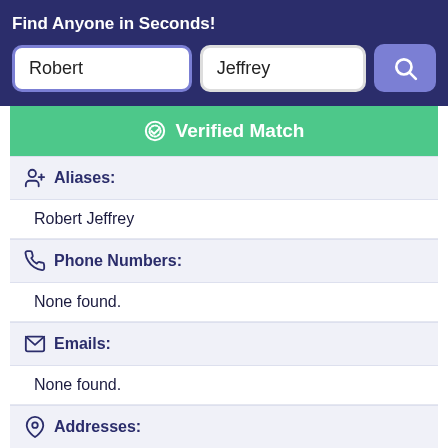Find Anyone in Seconds!
Robert
Jeffrey
Verified Match
Aliases:
Robert Jeffrey
Phone Numbers:
None found.
Emails:
None found.
Addresses:
Camden, Arkansas, United States
Record Overview: